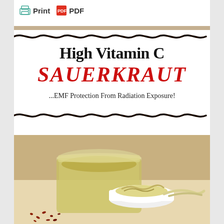[Figure (screenshot): Print and PDF toolbar buttons with icons]
[Figure (infographic): High Vitamin C Sauerkraut banner with wavy border lines, large title text and subtitle '...EMF Protection From Radiation Exposure!']
[Figure (photo): Photo of sauerkraut in a glass jar and a white bowl, with red pepper flakes scattered around]